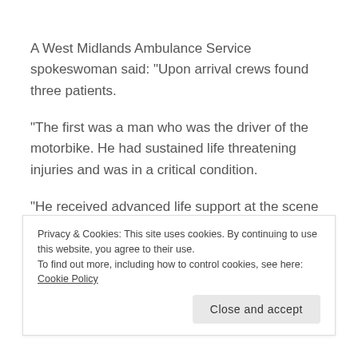A West Midlands Ambulance Service spokeswoman said: "Upon arrival crews found three patients.
"The first was a man who was the driver of the motorbike. He had sustained life threatening injuries and was in a critical condition.
"He received advanced life support at the scene but unfortunately, despite the best efforts it became clear that nothing more could be done to save him and he
Privacy & Cookies: This site uses cookies. By continuing to use this website, you agree to their use.
To find out more, including how to control cookies, see here: Cookie Policy